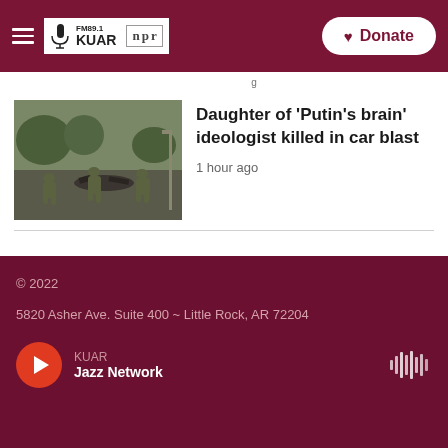FM89.1 KUAR | npr | Donate
[Figure (photo): Military personnel in green uniforms crouching near debris on a road]
Daughter of 'Putin's brain' ideologist killed in car blast
1 hour ago
© 2022
5820 Asher Ave. Suite 400 ~ Little Rock, AR 72204
KUAR Jazz Network